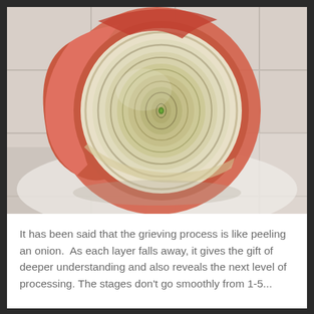[Figure (photo): Close-up top-down photograph of a red/pink onion cut in half or peeled back, showing the concentric circular layers inside. The interior layers are yellowish-white and spiral inward to a small green center. The outer skin is reddish-pink. The onion sits on a white tile surface with visible tile grout lines.]
It has been said that the grieving process is like peeling an onion.  As each layer falls away, it gives the gift of deeper understanding and also reveals the next level of processing. The stages don't go smoothly from 1-5...